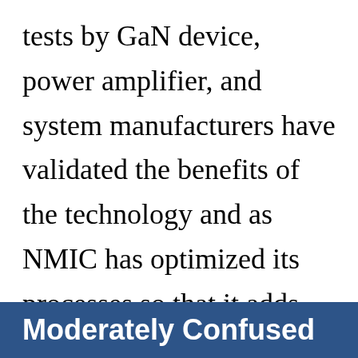tests by GaN device, power amplifier, and system manufacturers have validated the benefits of the technology and as NMIC has optimized its processes so that it adds minimally to the cost of each device.
Moderately Confused